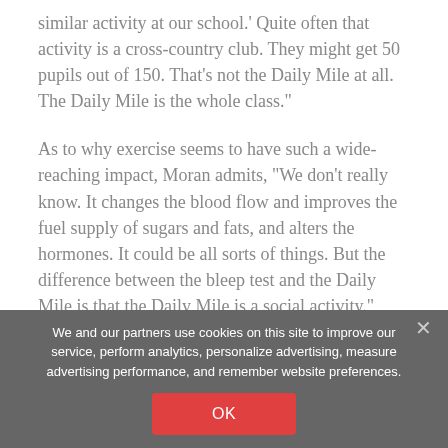similar activity at our school.' Quite often that activity is a cross-country club. They might get 50 pupils out of 150. That's not the Daily Mile at all. The Daily Mile is the whole class."
As to why exercise seems to have such a wide-reaching impact, Moran admits, "We don't really know. It changes the blood flow and improves the fuel supply of sugars and fats, and alters the hormones. It could be all sorts of things. But the difference between the bleep test and the Daily Mile is that the Daily Mile is a social activity."
We and our partners use cookies on this site to improve our service, perform analytics, personalize advertising, measure advertising performance, and remember website preferences.